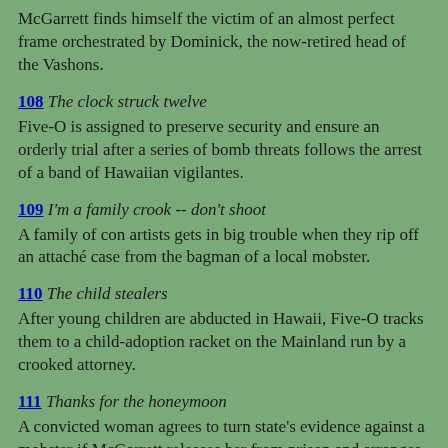McGarrett finds himself the victim of an almost perfect frame orchestrated by Dominick, the now-retired head of the Vashons.
108 The clock struck twelve
Five-O is assigned to preserve security and ensure an orderly trial after a series of bomb threats follows the arrest of a band of Hawaiian vigilantes.
109 I'm a family crook -- don't shoot
A family of con artists gets in big trouble when they rip off an attaché case from the bagman of a local mobster.
110 The child stealers
After young children are abducted in Hawaii, Five-O tracks them to a child-adoption racket on the Mainland run by a crooked attorney.
111 Thanks for the honeymoon
A convicted woman agrees to turn state's evidence against a mobster if McGarrett releases her from prison and arranges her wedding to the father of her unborn child.
112 The li...